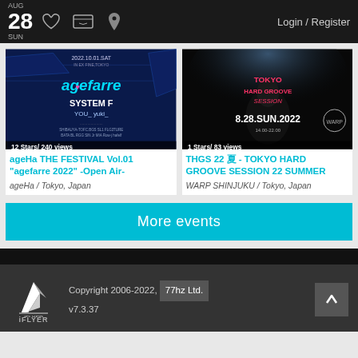AUG 28 SUN | Login / Register
[Figure (screenshot): Event thumbnail for ageHa THE FESTIVAL Vol.01 agefarre 2022 - blue promotional graphic with text '2022.10.01.SAT', 'Magefarre', 'SYSTEM F', 'YOU'. 12 Stars/ 240 views]
ageHa THE FESTIVAL Vol.01 "agefarre 2022" -Open Air-
ageHa / Tokyo, Japan
[Figure (screenshot): Event thumbnail for THGS 22 - TOKYO HARD GROOVE SESSION 22 SUMMER - dark photo with DJ silhouette and text 'TOKYO HARD GROOVE SESSION', '8.28.SUN.2022'. 1 Stars/ 83 views]
THGS 22 夏 - TOKYO HARD GROOVE SESSION 22 SUMMER
WARP SHINJUKU / Tokyo, Japan
More events
Copyright 2006-2022, 77hz Ltd. v7.3.37